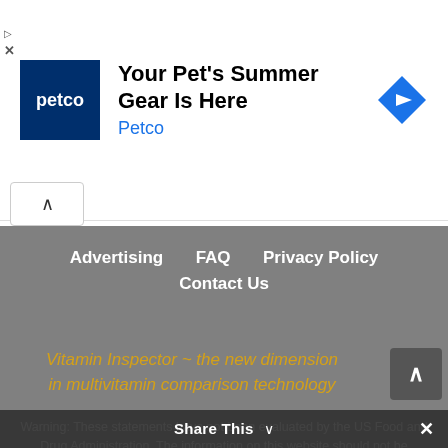[Figure (other): Petco advertisement banner with logo, headline 'Your Pet's Summer Gear Is Here', brand name 'Petco', and a blue diamond navigation icon]
Advertising   FAQ   Privacy Policy
Contact Us
Vitamin Inspector ~ the new dimension in multivitamin comparison technology
Warning: These statements have not been evaluated by the US Food and Drug Administration. The information on this website should not be
Share This